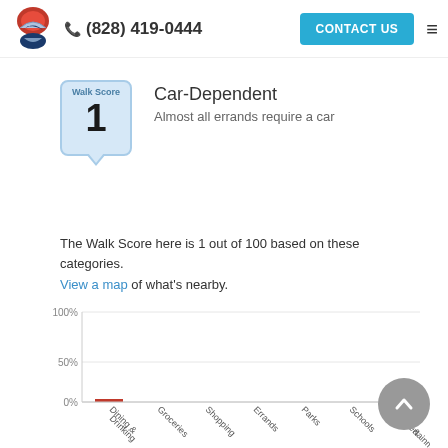(828) 419-0444  CONTACT US
[Figure (infographic): Walk Score badge showing score of 1 with label 'Walk Score']
Car-Dependent
Almost all errands require a car
The Walk Score here is 1 out of 100 based on these categories. View a map of what's nearby.
[Figure (bar-chart): Walk Score categories]